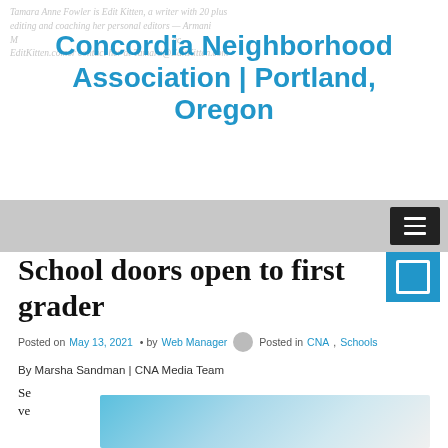Tamara Anne Fowler is Edit Kitten, a writer with 20 plus editing and coaching her personal editors — Armani M... EditKitten.comor contact her at Tamara@EditKitten.com
Concordia Neighborhood Association | Portland, Oregon
Navigation menu
School doors open to first grader
Posted on May 13, 2021 • by Web Manager  Posted in CNA, Schools
By Marsha Sandman | CNA Media Team
Se ve
[Figure (photo): Partially visible photograph, appears to show a building exterior with blue tones]